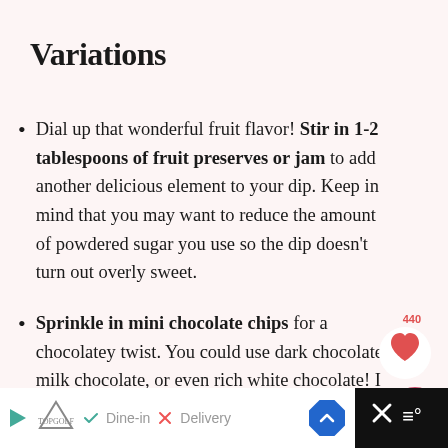Variations
Dial up that wonderful fruit flavor! Stir in 1-2 tablespoons of fruit preserves or jam to add another delicious element to your dip. Keep in mind that you may want to reduce the amount of powdered sugar you use so the dip doesn't turn out overly sweet.
Sprinkle in mini chocolate chips for a chocolatey twist. You could use dark chocolate, milk chocolate, or even rich white chocolate! I